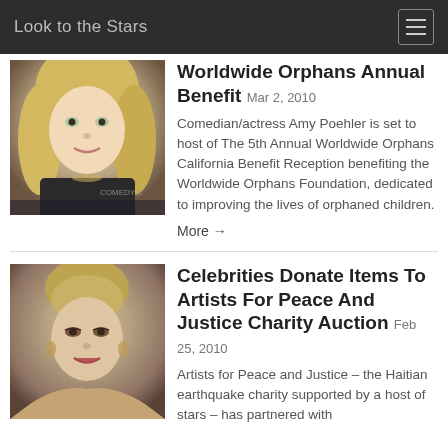Look to the Stars
Worldwide Orphans Annual Benefit Mar 2, 2010
Comedian/actress Amy Poehler is set to host of The 5th Annual Worldwide Orphans California Benefit Reception benefiting the Worldwide Orphans Foundation, dedicated to improving the lives of orphaned children.
More →
Celebrities Donate Items To Artists For Peace And Justice Charity Auction Feb 25, 2010
Artists for Peace and Justice – the Haitian earthquake charity supported by a host of stars – has partnered with